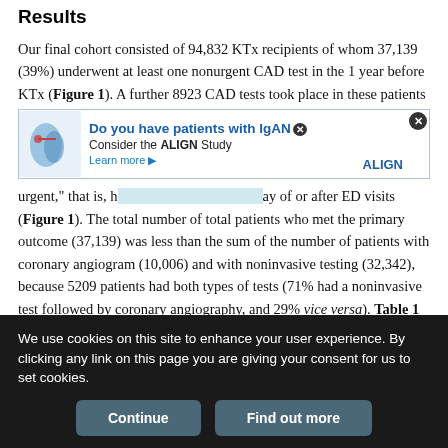Results
Our final cohort consisted of 94,832 KTx recipients of whom 37,139 (39%) underwent at least one nonurgent CAD test in the 1 year before KTx (Figure 1). A further 8923 CAD tests took place in these patients [ad banner] urgent," that is, h[...] ay of or after ED visits (Figure 1). The total number of total patients who met the primary outcome (37,139) was less than the sum of the number of patients with coronary angiogram (10,006) and with noninvasive testing (32,342), because 5209 patients had both types of tests (71% had a noninvasive test followed by coronary angiography, and 29% vice versa). Table 1 displays the baseline characteristics of the study cohort over time. Over the study period, the transplant program
[Figure (other): Advertisement banner: 'Do you have patients with IgAN? Consider the ALIGN Study. Learn more. ALIGN logo.' with kidney illustration.]
We use cookies on this site to enhance your user experience. By clicking any link on this page you are giving your consent for us to set cookies.